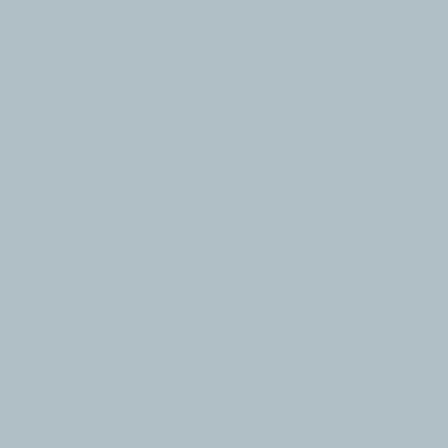Posted by: Lewis Cleverdon | Sept...
[Figure (photo): Small portrait photo of a person wearing a hat and scarf, shown from shoulders up]
Hi Glenn,

Does the past Sun output you... Cycles, or just the Sun's ener... references on the topic if you...

Hi Jim,

The figure you quote is Augus... peaked at 397. The detrende...

We do know however that CO... increasing rate. Here is the M... averages.

http://www.esrl.noaa.gov/g...

So it's not unreasonable to gu... from human emissions w/o a... from thawing permafrost and...

A larger unknown is the time... 520 ppm, forcing may indeed... question is how fast will it col...